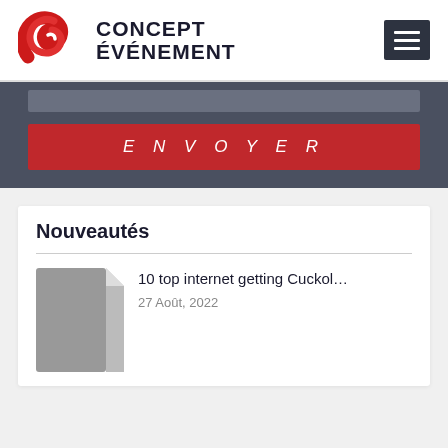CONCEPT ÉVÉNEMENT
[Figure (logo): Concept Événement logo with red swirl design and dark text]
[Figure (screenshot): Dark grey form section with an input bar and a red ENVOYER button]
Nouveautés
[Figure (illustration): Grey document thumbnail with folded corner]
10 top internet getting Cuckol...
27 Août, 2022